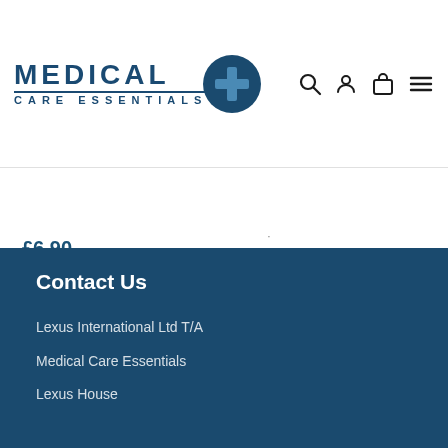[Figure (logo): Medical Care Essentials logo with dark blue text and a circular navy plus sign icon]
£6.90
£2.40
Contact Us
Lexus International Ltd T/A
Medical Care Essentials
Lexus House